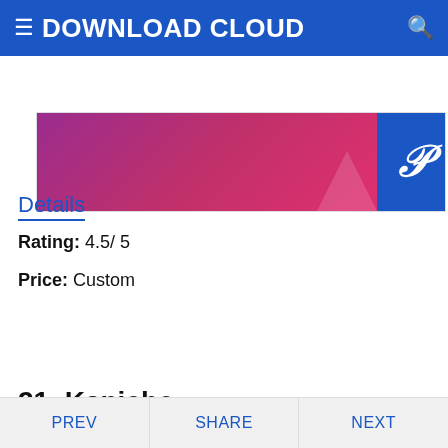≡ DOWNLOAD CLOUD
[Figure (screenshot): Partial screenshot of a pink/purple gradient banner image with a Pinterest icon overlay in a blue box]
Details
Rating: 4.5/5
Price: Custom
DOWNLOAD
21. Kapiche
[Figure (screenshot): Partial view of Kapiche website or app screenshot at the bottom, cropped]
PREV   SHARE   NEXT